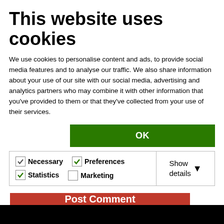This website uses cookies
We use cookies to personalise content and ads, to provide social media features and to analyse our traffic. We also share information about your use of our site with our social media, advertising and analytics partners who may combine it with other information that you've provided to them or that they've collected from your use of their services.
[Figure (screenshot): Cookie consent UI with OK button and checkboxes for Necessary (checked), Preferences (checked), Statistics (checked), Marketing (unchecked), and a Show details dropdown]
next time I comment.
[Figure (screenshot): Red Post Comment button]